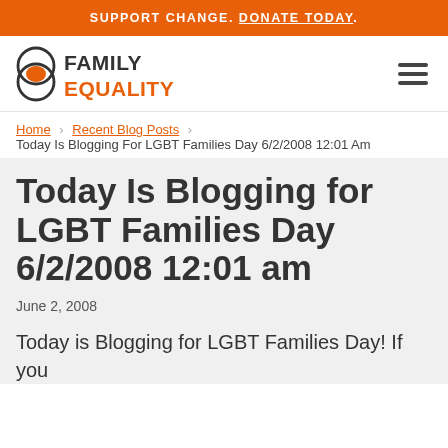SUPPORT CHANGE. DONATE TODAY.
[Figure (logo): Family Equality logo with two overlapping circles (one dark, one orange) and bold text FAMILY EQUALITY in orange]
Home > Recent Blog Posts > Today Is Blogging For LGBT Families Day 6/2/2008 12:01 Am
Today Is Blogging for LGBT Families Day 6/2/2008 12:01 am
June 2, 2008
Today is Blogging for LGBT Families Day! If you